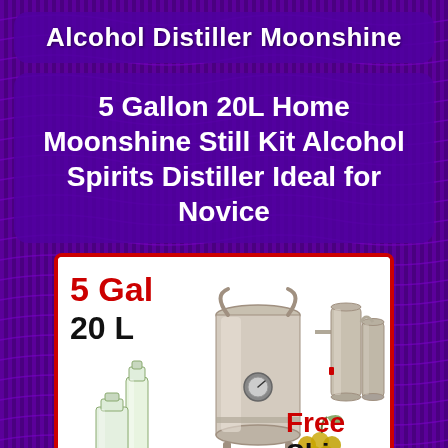Alcohol Distiller Moonshine
5 Gallon 20L Home Moonshine Still Kit Alcohol Spirits Distiller Ideal for Novice
[Figure (photo): Product image of a 5 gallon 20L stainless steel moonshine still distiller kit with condenser columns, shown with glass bottles and grapes. Red text reads '5 Gal' and '20 L' on left. Red and black text 'Free Ship' on bottom right. Red border around white background card.]